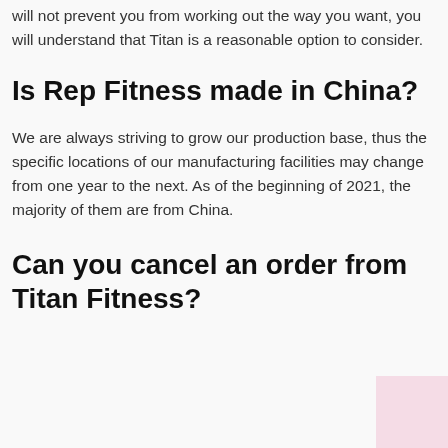will not prevent you from working out the way you want, you will understand that Titan is a reasonable option to consider.
Is Rep Fitness made in China?
We are always striving to grow our production base, thus the specific locations of our manufacturing facilities may change from one year to the next. As of the beginning of 2021, the majority of them are from China.
Can you cancel an order from Titan Fitness?